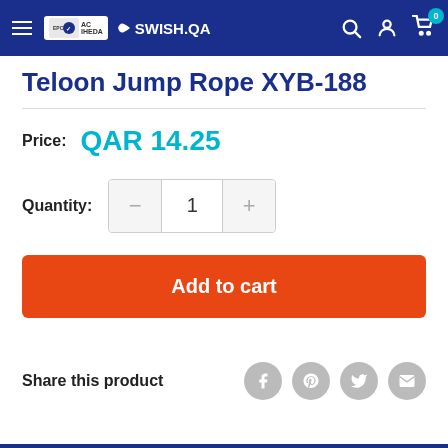SWISH.QA navigation bar with hamburger menu, logo, search, account, and cart icons
Teloon Jump Rope XYB-188
Price: QAR 14.25
Quantity: 1
Add to cart
Share this product